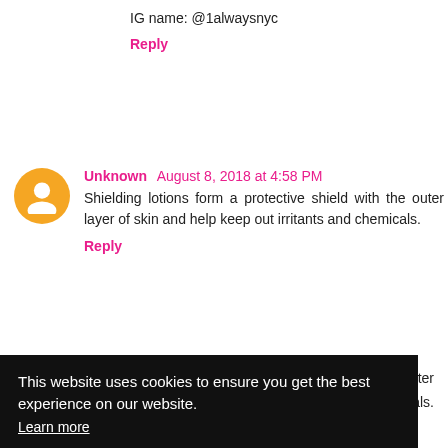IG name: @1alwaysnyc
Reply
Unknown August 8, 2018 at 4:58 PM
Shielding lotions form a protective shield with the outer layer of skin and help keep out irritants and chemicals.
Reply
This website uses cookies to ensure you get the best experience on our website.
Learn more
Got it!